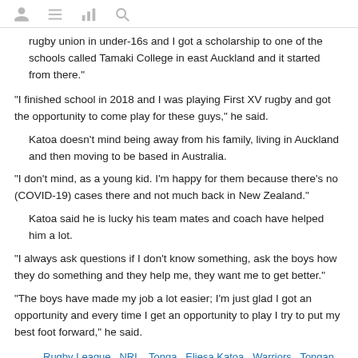[icons: user, menu, chart, search]
rugby union in under-16s and I got a scholarship to one of the schools called Tamaki College in east Auckland and it started from there."
"I finished school in 2018 and I was playing First XV rugby and got the opportunity to come play for these guys," he said.
Katoa doesn't mind being away from his family, living in Auckland and then moving to be based in Australia.
"I don't mind, as a young kid. I'm happy for them because there's no (COVID-19) cases there and not much back in New Zealand."
Katoa said he is lucky his team mates and coach have helped him a lot.
"I always ask questions if I don't know something, ask the boys how they do something and they help me, they want me to get better."
"The boys have made my job a lot easier; I'm just glad I got an opportunity and every time I get an opportunity to play I try to put my best foot forward," he said.
Rugby League, NRL, Tonga, Eliesa Katoa, Warriors, Tongan rugby players